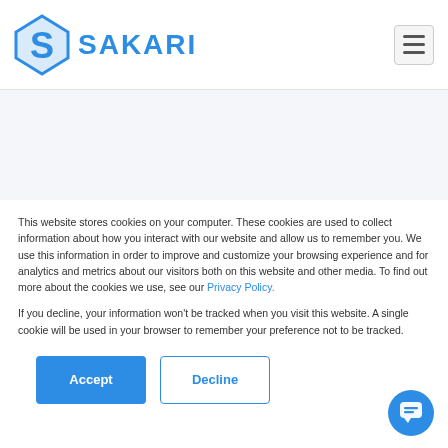[Figure (logo): Sakari logo with blue diamond/S icon and SAKARI text in blue]
[Figure (other): Hamburger menu icon (three horizontal lines) in a rounded rectangle button]
This website stores cookies on your computer. These cookies are used to collect information about how you interact with our website and allow us to remember you. We use this information in order to improve and customize your browsing experience and for analytics and metrics about our visitors both on this website and other media. To find out more about the cookies we use, see our Privacy Policy.
If you decline, your information won't be tracked when you visit this website. A single cookie will be used in your browser to remember your preference not to be tracked.
[Figure (other): Accept button (blue filled) and Decline button (blue outline)]
[Figure (other): Blue circular chat bubble button in bottom right corner]